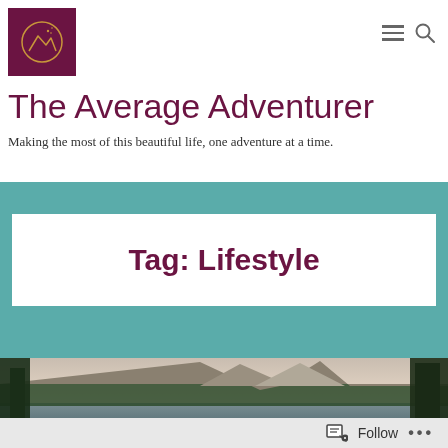The Average Adventurer — navigation header with logo and menu/search icons
The Average Adventurer
Making the most of this beautiful life, one adventure at a time.
Tag: Lifestyle
[Figure (photo): Mountain lake landscape at dusk with evergreen trees and rocky mountain peak in the background]
Follow ...